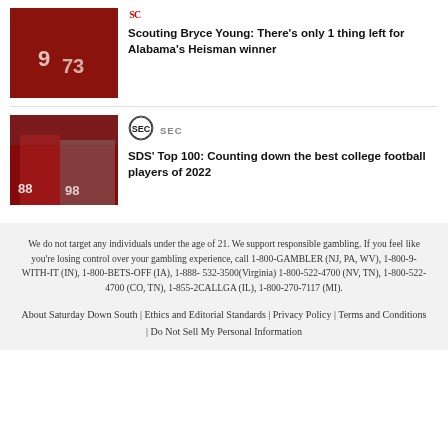[Figure (photo): Alabama football players in red uniforms with numbers 9 and 73]
Scouting Bryce Young: There's only 1 thing left for Alabama's Heisman winner
[Figure (logo): SEC logo circular badge]
SEC
[Figure (photo): Alabama football players group photo in red uniforms including numbers 88 and 98]
SDS' Top 100: Counting down the best college football players of 2022
We do not target any individuals under the age of 21. We support responsible gambling. If you feel like you're losing control over your gambling experience, call 1-800-GAMBLER (NJ, PA, WV), 1-800-9-WITH-IT (IN), 1-800-BETS-OFF (IA), 1-888- 532-3500(Virginia) 1-800-522-4700 (NV, TN), 1-800-522-4700 (CO, TN), 1-855-2CALLGA (IL), 1-800-270-7117 (MI).
About Saturday Down South | Ethics and Editorial Standards | Privacy Policy | Terms and Conditions | Do Not Sell My Personal Information